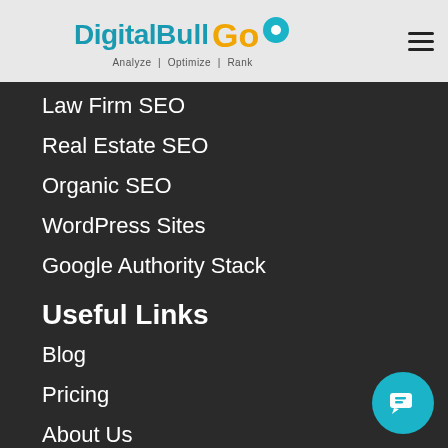[Figure (logo): DigitalBull Go logo with teal and gold text and map pin icon, tagline: Analyze | Optimize | Rank]
Law Firm SEO
Real Estate SEO
Organic SEO
WordPress Sites
Google Authority Stack
Useful Links
Blog
Pricing
About Us
Resources
Case Studies
30-Min Consulting